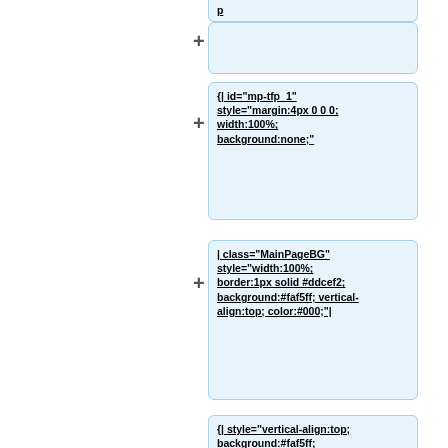p
{| id="mp-tfp_1" style="margin:4px 0 0 0; width:100%; background:none;"
| class="MainPageBG" style="width:100%; border:1px solid #ddcef2; background:#faf5ff; vertical-align:top; color:#000;"
{| style="vertical-align:top; background:#faf5ff; color:#000; width:100%"
! style="padding:2px" | <h2 id="mp-tfp-h2" style="margin:3px;